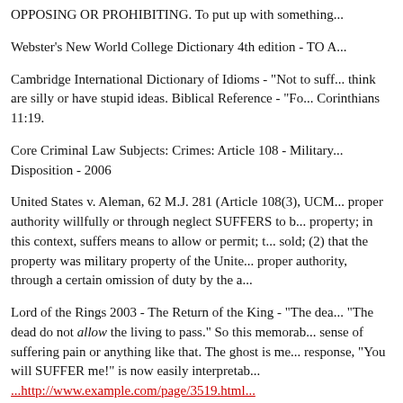OPPOSING OR PROHIBITING. To put up with something...
Webster's New World College Dictionary 4th edition - TO A...
Cambridge International Dictionary of Idioms - "Not to suff... think are silly or have stupid ideas. Biblical Reference - "Fo... Corinthians 11:19.
Core Criminal Law Subjects: Crimes: Article 108 - Military... Disposition - 2006
United States v. Aleman, 62 M.J. 281 (Article 108(3), UCM... proper authority willfully or through neglect SUFFERS to b... property; in this context, suffers means to allow or permit; t... sold; (2) that the property was military property of the Unite... proper authority, through a certain omission of duty by the a...
Lord of the Rings 2003 - The Return of the King - "The dea... "The dead do not allow the living to pass." So this memorab... sense of suffering pain or anything like that. The ghost is me... response, "You will SUFFER me!" is now easily interpretab...